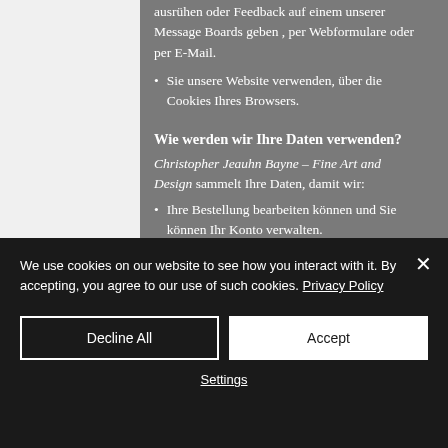ausrühen oder Feedback auf einem unserer Message Boards geben , per Webformulare oder per E-Mail.
Sie unsere Website verwenden, über die Cookies Ihres Browsers.
Wie werden wir Ihre Daten verwenden?
Christopher Jeauhn Bayne – Fine Art and Design sammelt Ihre Daten, damit wir:
Ihre Bestellung bearbeiten können und Sie können Ihr Konto verwalten.
E-Mail mit Sonderangeboten für andere Produkte und Dienstleistungen, von
We use cookies on our website to see how you interact with it. By accepting, you agree to our use of such cookies. Privacy Policy
Decline All
Accept
Settings